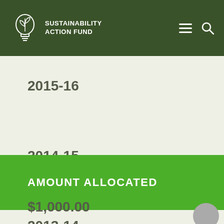SUSTAINABILITY ACTION FUND
2015-16
2014-15
2013-14
AMOUNT ALLOCATED
$1,000.00